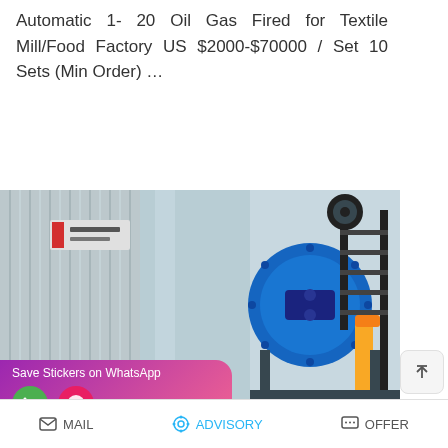Automatic 1- 20 Oil Gas Fired for Textile Mill/Food Factory US $2000-$70000 / Set 10 Sets (Min Order) …
[Figure (other): Blue read more button with rounded corners on white background]
[Figure (photo): Industrial oil gas fired boiler equipment, showing a large blue cylindrical burner assembly attached to a silver insulated boiler tank, with yellow piping and black metal staircase in the background. Chinese text signage visible on a grey corrugated panel on the left.]
[Figure (screenshot): WhatsApp sticker save overlay with purple-pink gradient background showing Save Stickers on WhatsApp text and two app icons (phone and face emoji)]
MAIL   ADVISORY   OFFER